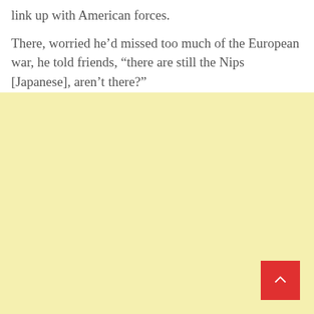link up with American forces.
There, worried he'd missed too much of the European war, he told friends, “there are still the Nips [Japanese], aren’t there?”
[Figure (other): Light yellow background section filling the lower portion of the page, with a red scroll-to-top button in the bottom-right corner containing a white upward chevron arrow.]